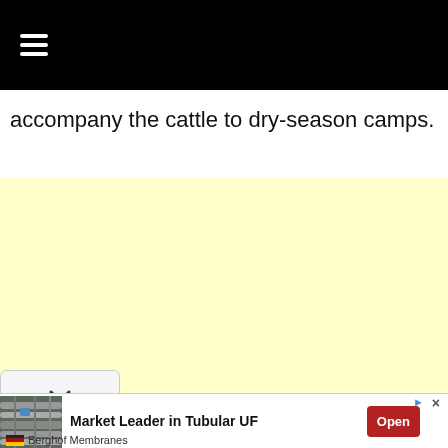hamburger menu icon
accompany the cattle to dry-season camps.
[Figure (other): Yellow advertisement placeholder area]
[Figure (other): Collapse/chevron button with downward arrow]
[Figure (other): Advertisement banner: Market Leader in Tubular UF by Berghof Membranes, with pipeline photo, Open button]
Berghof Membranes